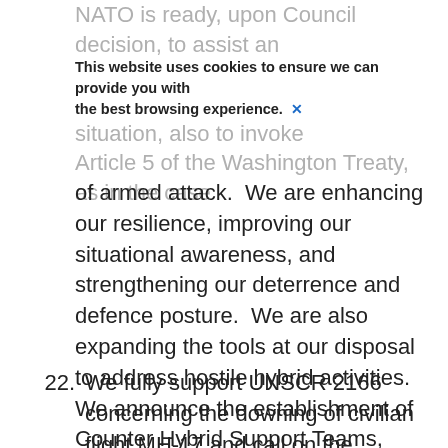NATO is ready, upon Council decision, to assist an Ally at any stage of a hybrid campaign, including by invoking Article 5 of the Washington Treaty, as in the case of armed attack.  We are enhancing our resilience, improving our situational awareness, and strengthening our deterrence and defence posture.  We are also expanding the tools at our disposal to address hostile hybrid activities.  We announce the establishment of Counter Hybrid Support Teams, which provide tailored, targeted assistance to Allies, upon their request, in preparing for and responding to hybrid activities.  We will continue to support our partners as they strengthen their resilience in the face of hybrid challenges.
This website uses cookies to ensure we can provide you with the best browsing experience. X
22. We fully support UNSCR 2166 concerning the downing of civilian flight MH-17 and call on the Russian Federation to accept its responsibility and to fully cooperate with all efforts to establish